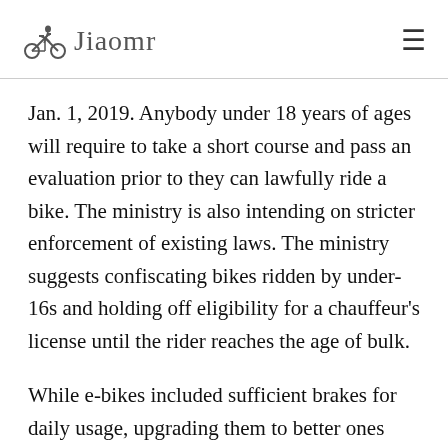Jiaomr
Jan. 1, 2019. Anybody under 18 years of ages will require to take a short course and pass an evaluation prior to they can lawfully ride a bike. The ministry is also intending on stricter enforcement of existing laws. The ministry suggests confiscating bikes ridden by under-16s and holding off eligibility for a chauffeur's license until the rider reaches the age of bulk.
While e-bikes included sufficient brakes for daily usage, upgrading them to better ones